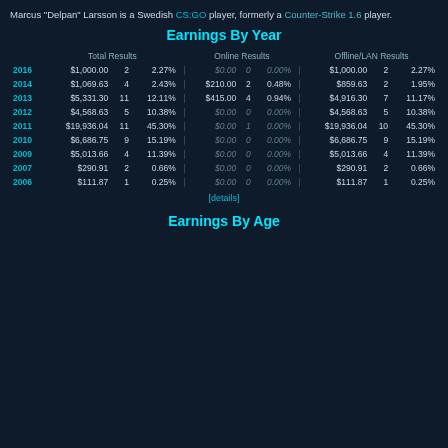Marcus "Delpan" Larsson is a Swedish CS:GO player, formerly a Counter-Strike 1.6 player.
Earnings By Year
|  | Total Results |  |  |  | Online Results |  |  |  | Offline/LAN Results |  |  |
| --- | --- | --- | --- | --- | --- | --- | --- | --- | --- | --- | --- |
| 2016 | $1,000.00 | 2 | 2.27% | | | $0.00 | 0 | 0.00% | | | $1,000.00 | 2 | 2.27% |
| 2014 | $1,069.63 | 4 | 2.43% | | | $210.00 | 2 | 0.48% | | | $859.63 | 2 | 1.95% |
| 2013 | $5,331.30 | 11 | 12.11% | | | $415.00 | 4 | 0.94% | | | $4,916.30 | 7 | 11.17% |
| 2012 | $4,568.63 | 5 | 10.38% | | | $0.00 | 0 | 0.00% | | | $4,568.63 | 5 | 10.38% |
| 2011 | $19,936.04 | 11 | 45.30% | | | $0.00 | 1 | 0.00% | | | $19,936.04 | 10 | 45.30% |
| 2010 | $6,686.75 | 9 | 15.19% | | | $0.00 | 0 | 0.00% | | | $6,686.75 | 9 | 15.19% |
| 2009 | $5,013.66 | 4 | 11.39% | | | $0.00 | 0 | 0.00% | | | $5,013.66 | 4 | 11.39% |
| 2007 | $290.91 | 2 | 0.66% | | | $0.00 | 0 | 0.00% | | | $290.91 | 2 | 0.66% |
| 2006 | $111.87 | 1 | 0.25% | | | $0.00 | 0 | 0.00% | | | $111.87 | 1 | 0.25% |
[details]
Earnings By Age